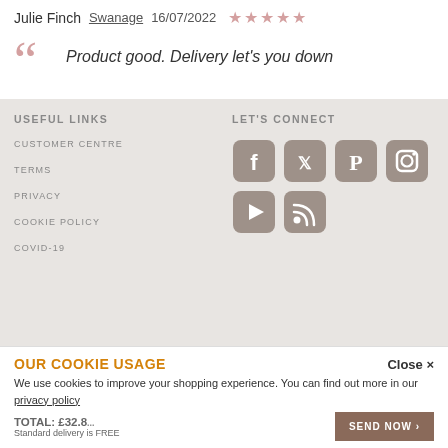Julie Finch  Swanage  16/07/2022  ★★☆☆☆
Product good. Delivery let's you down
USEFUL LINKS
CUSTOMER CENTRE
TERMS
PRIVACY
COOKIE POLICY
COVID-19
LET'S CONNECT
[Figure (other): Social media icons: Facebook, Twitter, Pinterest, Instagram, YouTube, RSS]
ACCEPTED PAYMENT METHODS
OUR COOKIE USAGE
We use cookies to improve your shopping experience. You can find out more in our privacy policy
TOTAL: £32.8...
Standard delivery is FREE
SEND NOW